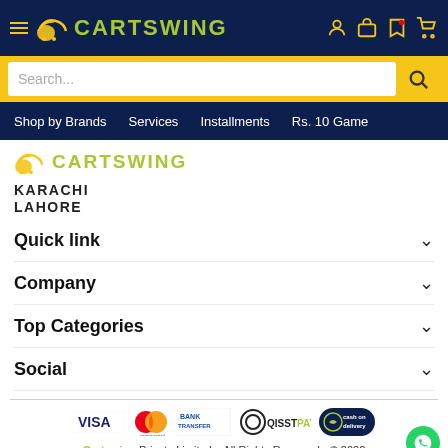Cartswing – Search bar with navigation: Shop by Brands, Services, Installments, Rs. 10 Game
[Figure (logo): Cartswing logo with winged shopping cart icon and green text on dark navy header]
[Figure (logo): Cartswing logo repeated in content area with winged shopping cart icon]
KARACHI
LAHORE
Quick link
Company
Top Categories
Social
[Figure (infographic): Payment icons: VISA, Mastercard, Bank Transfer, QisstPay, Cash on Delivery]
Cartswing Private Limited – All Rights Reserved - © 2022